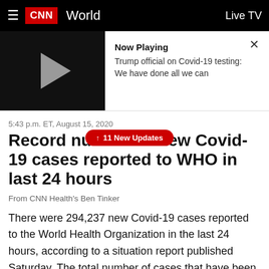CNN World Live TV
[Figure (screenshot): CNN video player with play button on black background showing 'Now Playing: Trump official on Covid-19 testing: We have done all we can' with an X close button]
5:43 p.m. ET, August 15, 2020
Record number of new Covid-19 cases reported to WHO in last 24 hours
↑ 11 New Updates
From CNN Health's Ben Tinker
There were 294,237 new Covid-19 cases reported to the World Health Organization in the last 24 hours, according to a situation report published Saturday. The total number of cases that have been reported to WHO from around the globe is now 21 million.